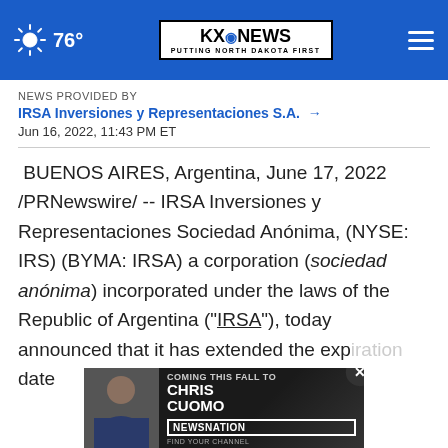76° | KXO NEWS - PUTTING NORTH DAKOTA FIRST
NEWS PROVIDED BY
IRSA Inversiones y Representaciones S.A. →
Jun 16, 2022, 11:43 PM ET
BUENOS AIRES, Argentina, June 17, 2022 /PRNewswire/ -- IRSA Inversiones y Representaciones Sociedad Anónima, (NYSE: IRS) (BYMA: IRSA) a corporation (sociedad anónima) incorporated under the laws of the Republic of Argentina ("IRSA"), today announced that it has extended the expiration date
[Figure (screenshot): Chris Cuomo advertisement banner - Coming This Fall to NewsNation]